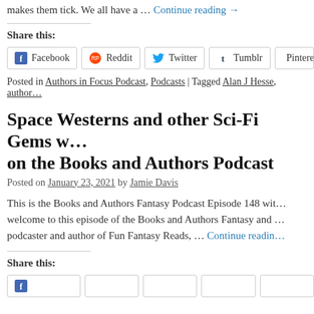makes them tick. We all have a … Continue reading →
Share this:
[Figure (other): Social share buttons: Facebook, Reddit, Twitter, Tumblr, Pinterest]
Posted in Authors in Focus Podcast, Podcasts | Tagged Alan J Hesse, author…
Space Westerns and other Sci-Fi Gems w… on the Books and Authors Podcast
Posted on January 23, 2021 by Jamie Davis
This is the Books and Authors Fantasy Podcast Episode 148 wit… welcome to this episode of the Books and Authors Fantasy and … podcaster and author of Fun Fantasy Reads, … Continue reading
Share this:
[Figure (other): Social share buttons row at bottom (partially visible)]